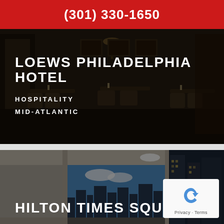(301) 330-1650
[Figure (photo): Dark-toned restaurant interior with dining tables, chairs, and framed artwork, overlaid with text for Loews Philadelphia Hotel]
LOEWS PHILADELPHIA HOTEL
HOSPITALITY
MID-ATLANTIC
[Figure (photo): Hotel room interior with large windows showing a city skyline, including a blue-sky cityscape artwork panel, overlaid with text for Hilton Times Square]
HILTON TIMES SQUARE